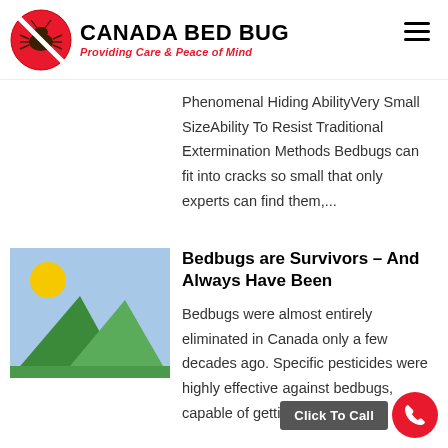CANADA BED BUG — Providing Care & Peace of Mind
Phenomenal Hiding AbilityVery Small SizeAbility To Resist Traditional Extermination Methods Bedbugs can fit into cracks so small that only experts can find them,...
[Figure (illustration): Placeholder image thumbnail with blue sky, yellow sun, and green mountains]
Bedbugs are Survivors – And Always Have Been
Bedbugs were almost entirely eliminated in Canada only a few decades ago. Specific pesticides were highly eff... g bedbugs, capable of getting into...